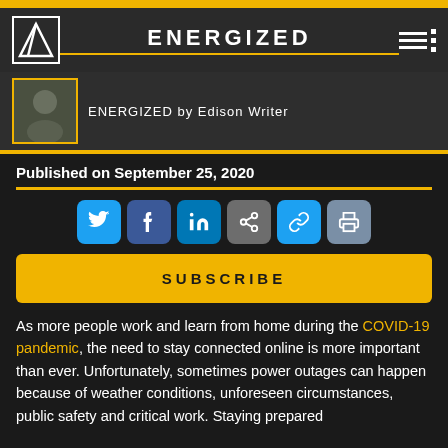ENERGIZED
ENERGIZED by Edison Writer
Published on September 25, 2020
[Figure (other): Social sharing buttons: Twitter, Facebook, LinkedIn, Share, Link, Print]
SUBSCRIBE
As more people work and learn from home during the COVID-19 pandemic, the need to stay connected online is more important than ever. Unfortunately, sometimes power outages can happen because of weather conditions, unforeseen circumstances, public safety and critical work. Staying prepared